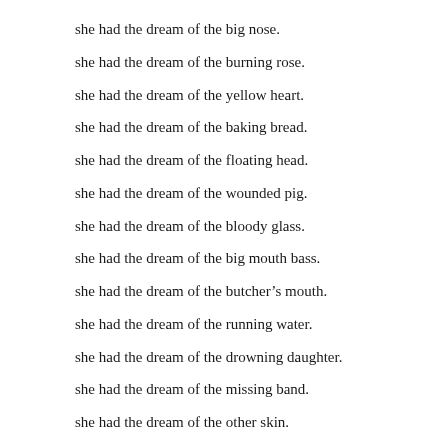she had the dream of the big nose.
she had the dream of the burning rose.
she had the dream of the yellow heart.
she had the dream of the baking bread.
she had the dream of the floating head.
she had the dream of the wounded pig.
she had the dream of the bloody glass.
she had the dream of the big mouth bass.
she had the dream of the butcher’s mouth.
she had the dream of the running water.
she had the dream of the drowning daughter.
she had the dream of the missing band.
she had the dream of the other skin.
she had the dream of the ugly sin.
she had the dream of the six toads.
she had the dream of the last brick road.